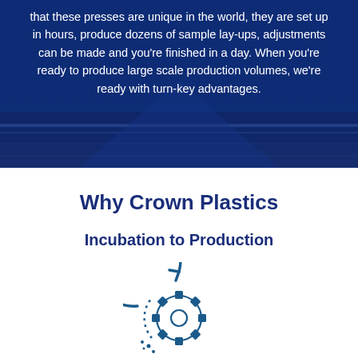that these presses are unique in the world, they are set up in hours, produce dozens of sample lay-ups, adjustments can be made and you're finished in a day. When you're ready to produce large scale production volumes, we're ready with turn-key advantages.
Why Crown Plastics
Incubation to Production
[Figure (illustration): A circular gear icon with an arrow cycling around it and small dots, rendered in dark blue outline style, representing an incubation-to-production cycle.]